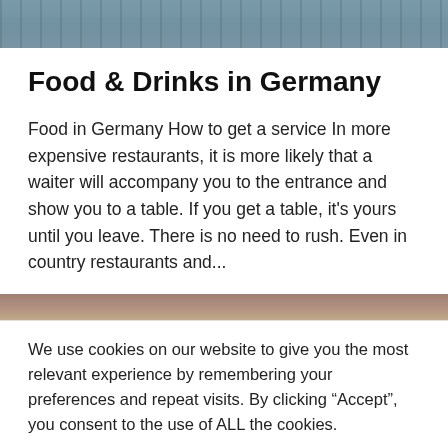[Figure (photo): Top portion of a photo, appears to be an outdoor scene with blue-grey tones, possibly water or a building]
Food & Drinks in Germany
Food in Germany How to get a service In more expensive restaurants, it is more likely that a waiter will accompany you to the entrance and show you to a table. If you get a table, it's yours until you leave. There is no need to rush. Even in country restaurants and...
[Figure (photo): Partial mid-page photo strip, warm brownish tones]
We use cookies on our website to give you the most relevant experience by remembering your preferences and repeat visits. By clicking “Accept”, you consent to the use of ALL the cookies.
Cookie settings   ACCEPT